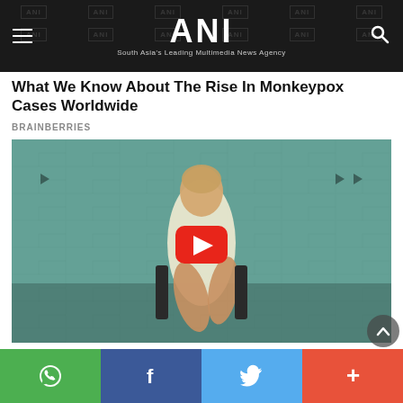ANI — South Asia's Leading Multimedia News Agency
What We Know About The Rise In Monkeypox Cases Worldwide
BRAINBERRIES
[Figure (photo): Video thumbnail showing a woman seated in a chair with a YouTube-style play button overlay in the center of the image.]